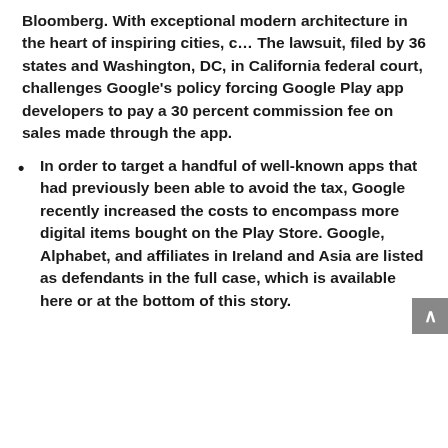Bloomberg. With exceptional modern architecture in the heart of inspiring cities, c… The lawsuit, filed by 36 states and Washington, DC, in California federal court, challenges Google's policy forcing Google Play app developers to pay a 30 percent commission fee on sales made through the app.
In order to target a handful of well-known apps that had previously been able to avoid the tax, Google recently increased the costs to encompass more digital items bought on the Play Store. Google, Alphabet, and affiliates in Ireland and Asia are listed as defendants in the full case, which is available here or at the bottom of this story.